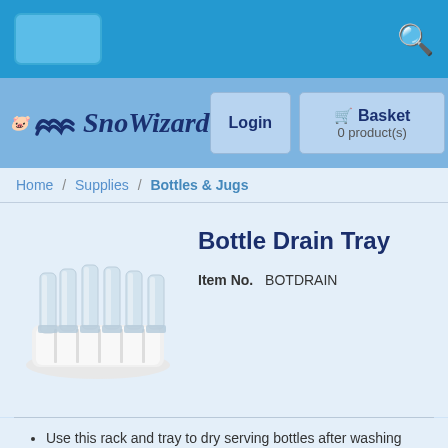SnoWizard
Login | Basket 0 product(s)
Home / Supplies / Bottles & Jugs
Bottle Drain Tray
Item No.  BOTDRAIN
[Figure (photo): Bottle drain tray product photo showing a white plastic tray with a rack holding multiple clear glass bottles upside down to drain]
Use this rack and tray to dry serving bottles after washing
Holds 12 bottles & full racks are stackable
Keeps bottles organized and clutter free
Dishwasher Safe